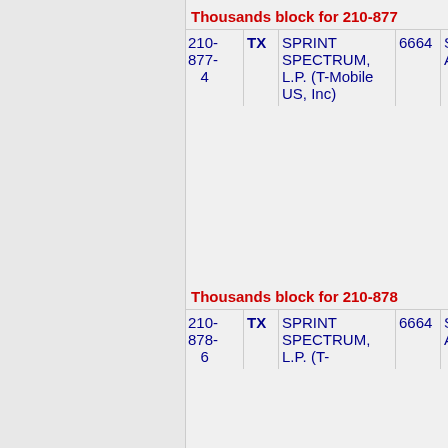Thousands block for 210-877
| Number | State | Company | Code | City |
| --- | --- | --- | --- | --- |
| 210-877-4 | TX | SPRINT SPECTRUM, L.P. (T-Mobile US, Inc) | 6664 | SANANTO |
Thousands block for 210-878
| Number | State | Company | Code | City |
| --- | --- | --- | --- | --- |
| 210-878-6 | TX | SPRINT SPECTRUM, L.P. (T- | 6664 | SANANTO |